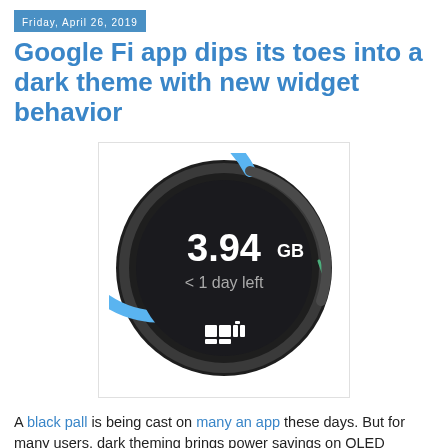Friday, April 26, 2019
Google Fi app dips its toes into a dark theme with new widget behavior
[Figure (screenshot): Google Fi app widget showing a dark circular gauge with 3.94 GB remaining and less than 1 day left, displayed on a light background. The gauge is mostly dark with a blue arc on the left side and a small green tick on the right. The Google Fi logo is at the bottom center.]
A black pall is being cast on many an app these days. But for many users, dark theming brings power savings on OLED